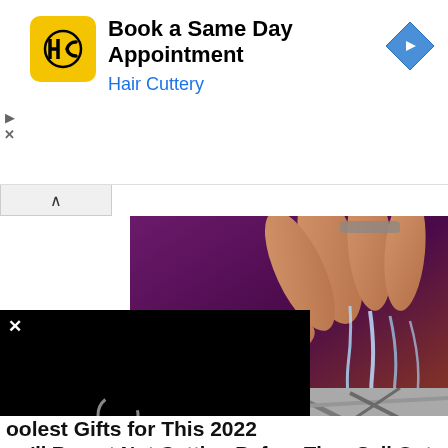[Figure (screenshot): Hair Cuttery advertisement banner with yellow/black HC logo, text 'Book a Same Day Appointment' and 'Hair Cuttery', blue navigation diamond icon on right, play/close ad controls on left]
[Figure (photo): Photograph of hands with water streaming over fingers against purple/dark background]
[Figure (screenshot): Black video player overlay with X close button and spinning loading circle]
oolest Gifts for This 2022
ou'll Regret Not Getting Before They Sell Out
CoolGifts | Sponsored
[Figure (photo): Partial photo of industrial ceiling/warehouse steel structure with bright light]